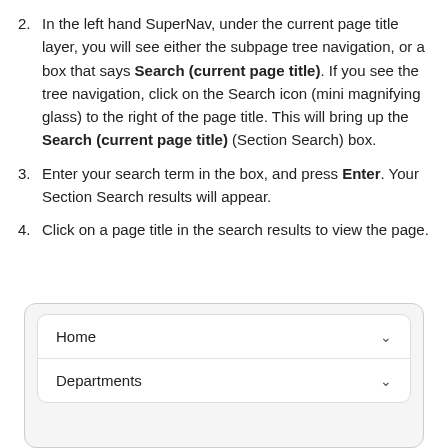2. In the left hand SuperNav, under the current page title layer, you will see either the subpage tree navigation, or a box that says Search (current page title). If you see the tree navigation, click on the Search icon (mini magnifying glass) to the right of the page title. This will bring up the Search (current page title) (Section Search) box.
3. Enter your search term in the box, and press Enter. Your Section Search results will appear.
4. Click on a page title in the search results to view the page.
[Figure (screenshot): Screenshot of a navigation panel showing 'Home' and 'Departments' rows with chevron dropdowns, inside a rounded box with light gray background.]